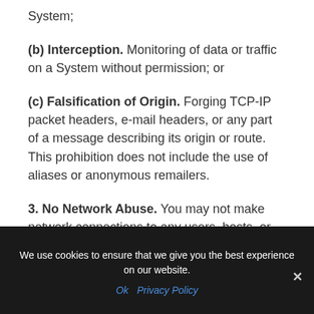System;
(b) Interception. Monitoring of data or traffic on a System without permission; or
(c) Falsification of Origin. Forging TCP-IP packet headers, e-mail headers, or any part of a message describing its origin or route. This prohibition does not include the use of aliases or anonymous remailers.
3. No Network Abuse. You may not make network connections to any users, hosts, or
We use cookies to ensure that we give you the best experience on our website.
Ok  Privacy Policy